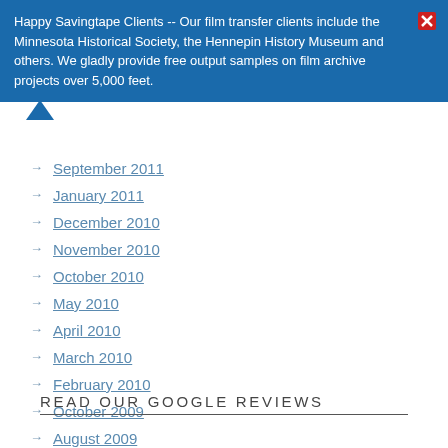Happy Savingtape Clients -- Our film transfer clients include the Minnesota Historical Society, the Hennepin History Museum and others. We gladly provide free output samples on film archive projects over 5,000 feet.
September 2011
January 2011
December 2010
November 2010
October 2010
May 2010
April 2010
March 2010
February 2010
October 2009
August 2009
READ OUR GOOGLE REVIEWS